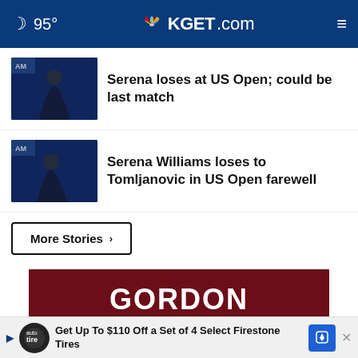🌙 95° | KGET.com
Serena loses at US Open; could be last match
Serena Williams loses to Tomljanovic in US Open farewell
More Stories ›
[Figure (other): Gordon Team Realty advertisement banner with dark red background and close button]
[Figure (other): Tire advertisement: Get Up To $110 Off a Set of 4 Select Firestone Tires]